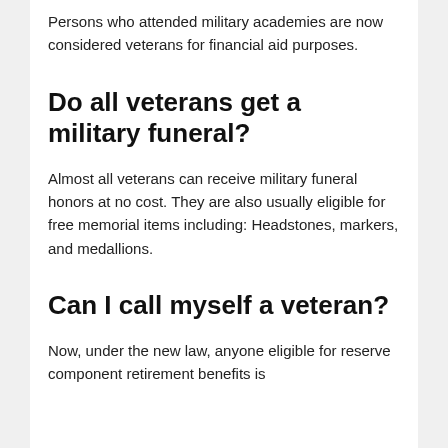Persons who attended military academies are now considered veterans for financial aid purposes.
Do all veterans get a military funeral?
Almost all veterans can receive military funeral honors at no cost. They are also usually eligible for free memorial items including: Headstones, markers, and medallions.
Can I call myself a veteran?
Now, under the new law, anyone eligible for reserve component retirement benefits is